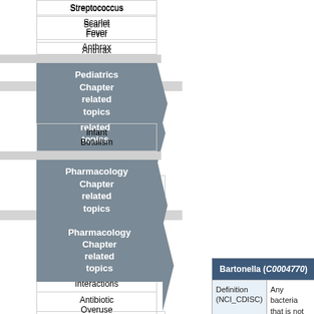Streptococcus
Scarlet Fever
Anthrax
Pediatrics Chapter related topics
Infant Botulism
Pharmacology Chapter related topics
Antibiotic Associated Diarrhea
Antibiotic Food Interactions
Antibiotic Overuse
Aminoglycoside
Clindamycin
Metronidazole
Cephalosporins
First Generation Cephalosporins
|  | Bartonella (C0004770) |
| --- | --- |
| Definition (NCI_CDISC) | Any bacteria that is not assigned to the species level but can be assigned to the Bartonella genus level |